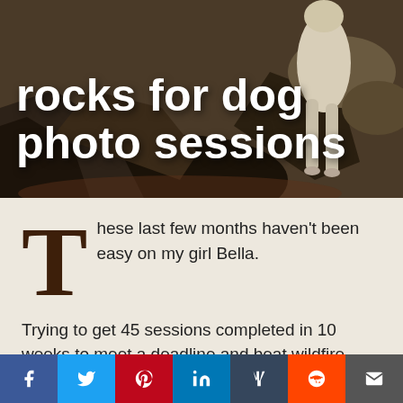[Figure (photo): A light-colored dog standing on rocky terrain with boulders in background]
rocks for dog photo sessions
These last few months haven't been easy on my girl Bella.

Trying to get 45 sessions completed in 10 weeks to meet a deadline and beat wildfire smoke in Eastern Washington and North Idaho, I missed out on a
f  t  p  in  t  reddit  mail